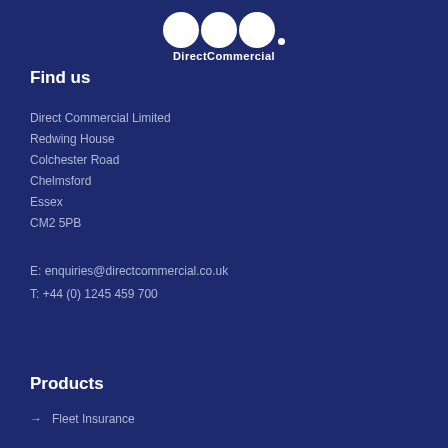[Figure (logo): DirectCommercial logo: three white circles followed by a dot, with 'DirectCommercial' text below]
Find us
Direct Commercial Limited
Redwing House
Colchester Road
Chelmsford
Essex
CM2 5PB
E: enquiries@directcommercial.co.uk
T: +44 (0) 1245 459 700
Products
Fleet Insurance